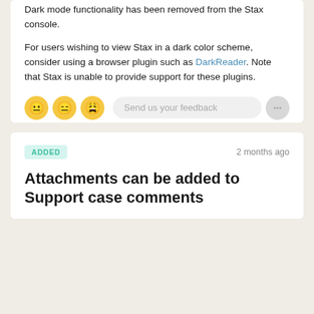Dark mode functionality has been removed from the Stax console.
For users wishing to view Stax in a dark color scheme, consider using a browser plugin such as DarkReader. Note that Stax is unable to provide support for these plugins.
Send us your feedback
ADDED
2 months ago
Attachments can be added to Support case comments